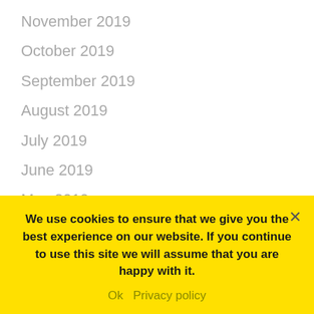November 2019
October 2019
September 2019
August 2019
July 2019
June 2019
May 2019
April 2019
March 2019
February 2019
January 2019
We use cookies to ensure that we give you the best experience on our website. If you continue to use this site we will assume that you are happy with it.
Ok   Privacy policy